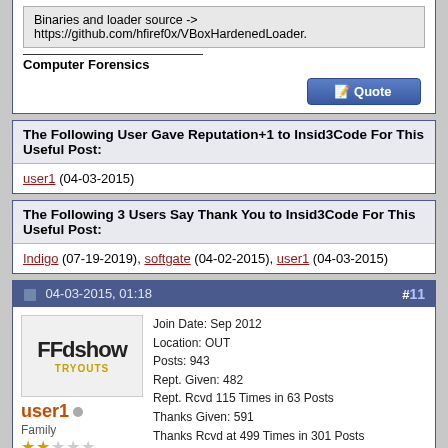Binaries and loader source -> https://github.com/hfiref0x/VBoxHardenedLoader.
Computer Forensics
The Following User Gave Reputation+1 to Insid3Code For This Useful Post:
user1 (04-03-2015)
The Following 3 Users Say Thank You to Insid3Code For This Useful Post:
Indigo (07-19-2019), softgate (04-02-2015), user1 (04-03-2015)
04-03-2015, 01:18   #11
user1 Family
Join Date: Sep 2012
Location: OUT
Posts: 943
Rept. Given: 482
Rept. Rcvd 115 Times in 63 Posts
Thanks Given: 591
Thanks Rcvd at 499 Times in 301 Posts
Quote: